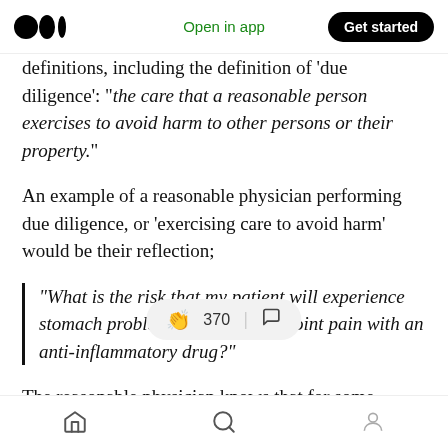Open in app | Get started
definitions, including the definition of 'due diligence': “the care that a reasonable person exercises to avoid harm to other persons or their property.”
An example of a reasonable physician performing due diligence, or ‘exercising care to avoid harm’ would be their reflection;
“What is the risk that my patient will experience stomach problems if I treat their joint pain with an anti-inflammatory drug?”
The reasonable physician knows that for some
370